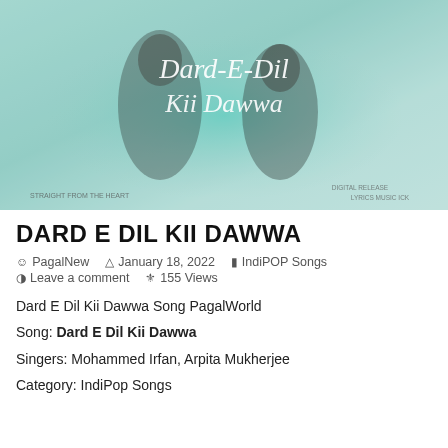[Figure (photo): Album cover image for Dard-E-Dil Kii Dawwa showing a couple with teal/mint gradient background and decorative script title text]
DARD E DIL KII DAWWA
PagalNew   January 18, 2022   IndiPOP Songs   Leave a comment   155 Views
Dard E Dil Kii Dawwa Song PagalWorld
Song: Dard E Dil Kii Dawwa
Singers: Mohammed Irfan, Arpita Mukherjee
Category: IndiPop Songs